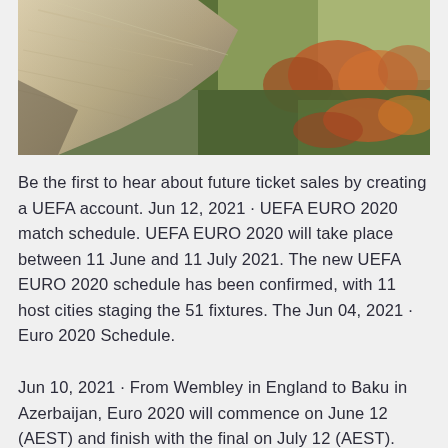[Figure (photo): Aerial photo of a large granite rock face/cliff with colorful autumn forest (red, orange, green trees) below and to the right, sunlit landscape.]
Be the first to hear about future ticket sales by creating a UEFA account. Jun 12, 2021 · UEFA EURO 2020 match schedule. UEFA EURO 2020 will take place between 11 June and 11 July 2021. The new UEFA EURO 2020 schedule has been confirmed, with 11 host cities staging the 51 fixtures. The Jun 04, 2021 · Euro 2020 Schedule.
Jun 10, 2021 · From Wembley in England to Baku in Azerbaijan, Euro 2020 will commence on June 12 (AEST) and finish with the final on July 12 (AEST). How